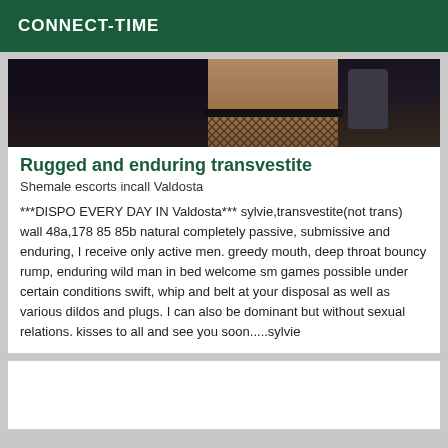CONNECT-TIME
[Figure (photo): Cropped photo showing lower torso wearing fishnet stockings against a dark background]
Rugged and enduring transvestite
Shemale escorts incall Valdosta
***DISPO EVERY DAY IN Valdosta*** sylvie,transvestite(not trans) wall 48a,178 85 85b natural completely passive, submissive and enduring, I receive only active men. greedy mouth, deep throat bouncy rump, enduring wild man in bed welcome sm games possible under certain conditions swift, whip and belt at your disposal as well as various dildos and plugs. I can also be dominant but without sexual relations. kisses to all and see you soon.....sylvie